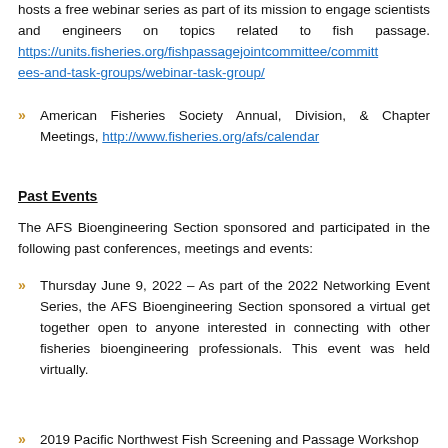hosts a free webinar series as part of its mission to engage scientists and engineers on topics related to fish passage. https://units.fisheries.org/fishpassagejointcommittee/committees-and-task-groups/webinar-task-group/
American Fisheries Society Annual, Division, & Chapter Meetings, http://www.fisheries.org/afs/calendar
Past Events
The AFS Bioengineering Section sponsored and participated in the following past conferences, meetings and events:
Thursday June 9, 2022 – As part of the 2022 Networking Event Series, the AFS Bioengineering Section sponsored a virtual get together open to anyone interested in connecting with other fisheries bioengineering professionals. This event was held virtually.
2019 Pacific Northwest Fish Screening and Passage Workshop